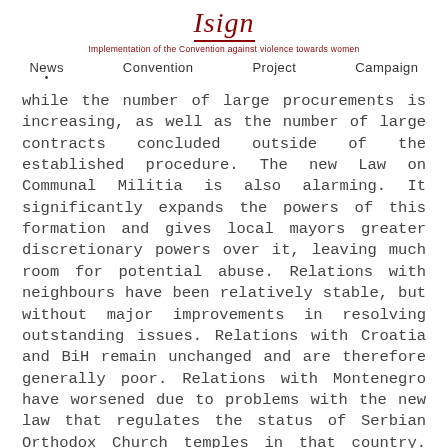Isign
Implementation of the Convention against violence towards women
News  Convention  Project  Campaign
while the number of large procurements is increasing, as well as the number of large contracts concluded outside of the established procedure. The new Law on Communal Militia is also alarming. It significantly expands the powers of this formation and gives local mayors greater discretionary powers over it, leaving much room for potential abuse. Relations with neighbours have been relatively stable, but without major improvements in resolving outstanding issues. Relations with Croatia and BiH remain unchanged and are therefore generally poor. Relations with Montenegro have worsened due to problems with the new law that regulates the status of Serbian Orthodox Church temples in that country. Negotiations with Kosovo continue to be frozen, and Pristina's taxes on goods from Serbia and BiH remain in place. Positive results were observed with regard to strengthening regional multilateral